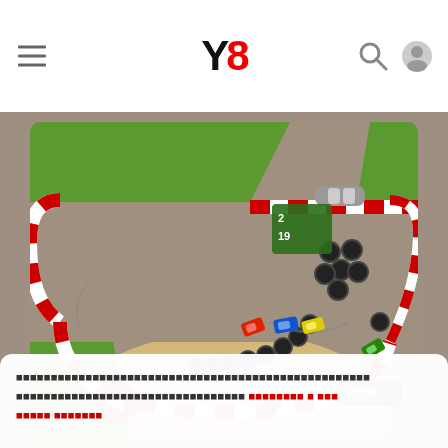Y8 logo with hamburger menu, search and user icons
[Figure (screenshot): Top-down racing game screenshot showing a race track with tire obstacles, multiple colored cars (red, blue, yellow, green), red-and-white curbs, green grass, sand areas, and a STOP sign finish line area.]
Scrambled/encoded text paragraph with red hyperlink text
Red play button with scrambled label text
Car Racer2